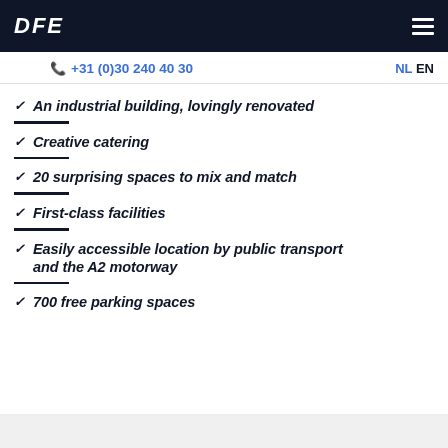DFE
+31 (0)30 240 40 30  NL EN
An industrial building, lovingly renovated
Creative catering
20 surprising spaces to mix and match
First-class facilities
Easily accessible location by public transport and the A2 motorway
700 free parking spaces